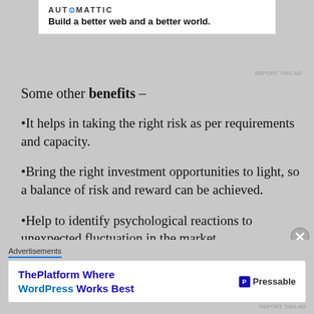[Figure (logo): Automattic logo and tagline: Build a better web and a better world.]
Some other benefits –
•It helps in taking the right risk as per requirements and capacity.
•Bring the right investment opportunities to light, so a balance of risk and reward can be achieved.
•Help to identify psychological reactions to unexpected fluctuation in the market.
•Plan for the worst-case scenario.
[Figure (logo): Pressable advertisement: ThePlatform Where WordPress Works Best]